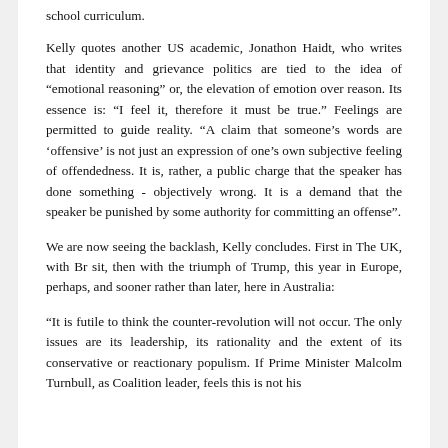school curriculum.
Kelly quotes another US academic, Jonathon Haidt, who writes that identity and grievance politics are tied to the idea of "emotional reasoning" or, the elevation of emotion over reason. Its essence is: "I feel it, therefore it must be true." Feelings are permitted to guide reality. "A claim that someone's words are 'offensive' is not just an expression of one's own subjective feeling of offendedness. It is, rather, a public charge that the speaker has done something - objectively wrong. It is a demand that the speaker be punished by some authority for committing an offense".
We are now seeing the backlash, Kelly concludes. First in The UK, with Br sit, then with the triumph of Trump, this year in Europe, perhaps, and sooner rather than later, here in Australia:
"It is futile to think the counter-revolution will not occur. The only issues are its leadership, its rationality and the extent of its conservative or reactionary populism. If Prime Minister Malcolm Turnbull, as Coalition leader, feels this is not his